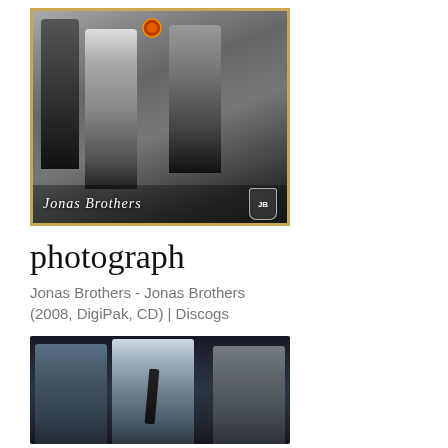[Figure (photo): Black and white photo of Jonas Brothers album cover showing four young men posing, with cursive 'Jonas Brothers' text and crest logo at bottom, framed in golden border]
photograph
Jonas Brothers - Jonas Brothers
(2008, DigiPak, CD) | Discogs
[Figure (photo): Color photograph of three young men (Jonas Brothers) posing together in semi-formal attire against a dark background]